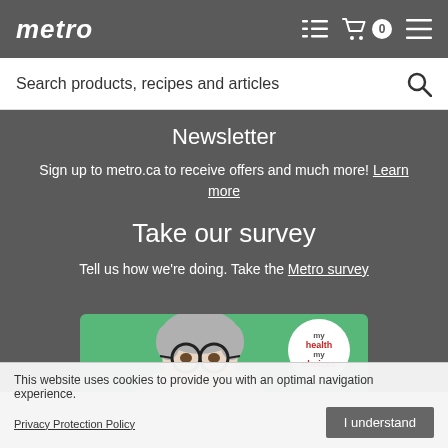metro
Search products, recipes and articles
Newsletter
Sign up to metro.ca to receive offers and much more! Learn more
Take our survey
Tell us how we're doing. Take the Metro survey
[Figure (photo): Banner image showing a person with grey hair and glasses on a green background, with a 'my health my choices' badge]
This website uses cookies to provide you with an optimal navigation experience. Privacy Protection Policy
I understand